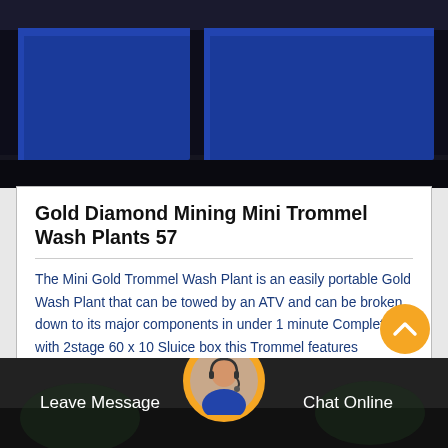[Figure (photo): Photo of blue mining equipment containers/trommel wash plant units against a dark background]
Gold Diamond Mining Mini Trommel Wash Plants 57
The Mini Gold Trommel Wash Plant is an easily portable Gold Wash Plant that can be towed by an ATV and can be broken down to its major components in under 1 minute Complete with 2stage 60 x 10 Sluice box this Trommel features excellent gold recovery
Get Price >
Leave Message
Chat Online